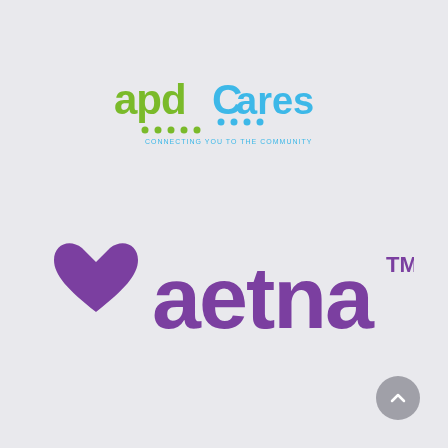[Figure (logo): APD Cares logo — 'apd' in green lowercase letters, 'Cares' in blue with dotted decoration, tagline 'CONNECTING YOU TO THE COMMUNITY' in small blue text below]
[Figure (logo): Aetna logo — purple heart/checkmark icon on the left followed by 'aetna' in bold purple lowercase letters with a purple 'TM' superscript]